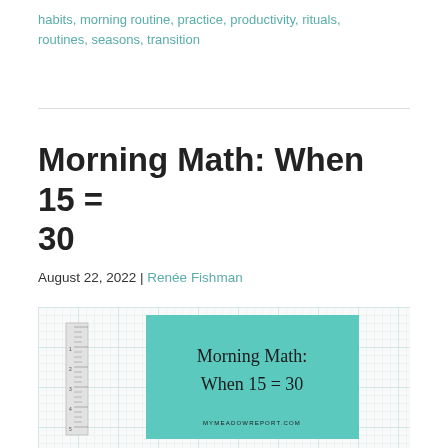habits, morning routine, practice, productivity, rituals, routines, seasons, transition
Morning Math: When 15 = 30
August 22, 2022 | Renée Fishman
[Figure (illustration): Graph paper background with a teal/mint colored card in the center displaying 'Morning Math: When 15 = 30' in cursive handwriting script with 'MYMEADOWREPORT.COM' at the bottom, and a ruler on the left side.]